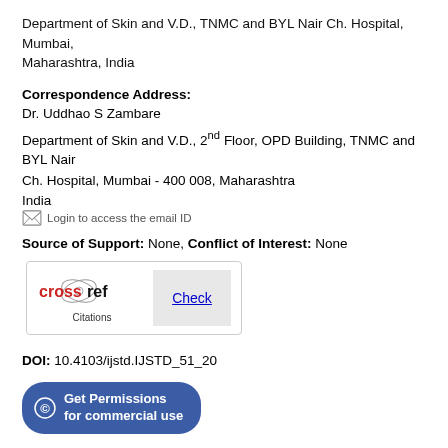Department of Skin and V.D., TNMC and BYL Nair Ch. Hospital, Mumbai, Maharashtra, India
Correspondence Address:
Dr. Uddhao S Zambare
Department of Skin and V.D., 2nd Floor, OPD Building, TNMC and BYL Nair Ch. Hospital, Mumbai - 400 008, Maharashtra India
Login to access the email ID
Source of Support: None, Conflict of Interest: None
[Figure (logo): Crossref Citations logo with Check button]
DOI: 10.4103/ijstd.IJSTD_51_20
Get Permissions for commercial use